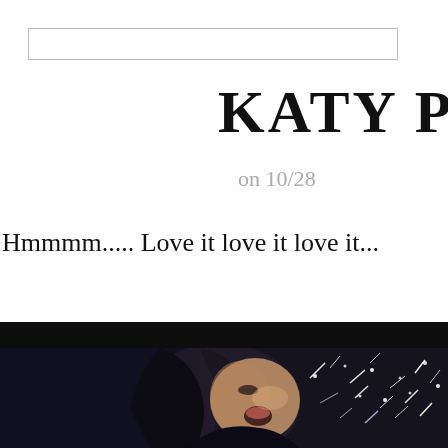[Figure (other): Search bar / input field at top of page]
KATY PERR
on 10/2
Hmmmm..... Love it love it love it...
[Figure (photo): Dark photo of a dark-haired woman singing or performing with mouth open, surrounded by glittering sparks/confetti on a dark background]